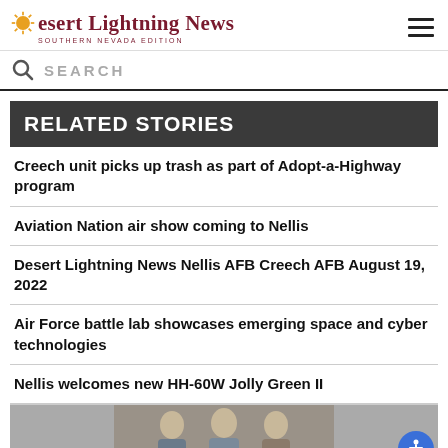Desert Lightning News — SOUTHERN NEVADA EDITION
SEARCH
RELATED STORIES
Creech unit picks up trash as part of Adopt-a-Highway program
Aviation Nation air show coming to Nellis
Desert Lightning News Nellis AFB Creech AFB August 19, 2022
Air Force battle lab showcases emerging space and cyber technologies
Nellis welcomes new HH-60W Jolly Green II
[Figure (photo): Group photo of three people standing together]